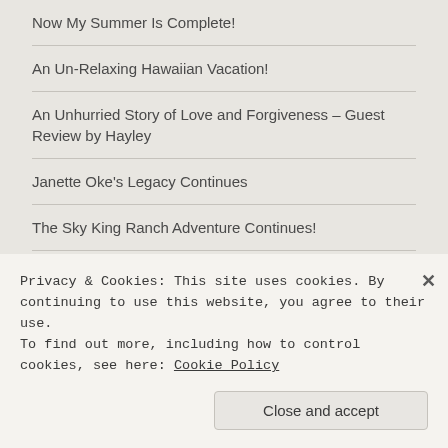Now My Summer Is Complete!
An Un-Relaxing Hawaiian Vacation!
An Unhurried Story of Love and Forgiveness – Guest Review by Hayley
Janette Oke's Legacy Continues
The Sky King Ranch Adventure Continues!
An Unforgettable Debut
Not Your Typical Amish Story
Not The Series' Finest
An Unforgettable Final Visit To Misty River
Privacy & Cookies: This site uses cookies. By continuing to use this website, you agree to their use.
To find out more, including how to control cookies, see here: Cookie Policy